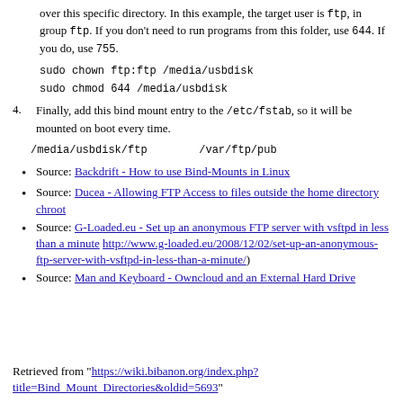over this specific directory. In this example, the target user is ftp, in group ftp. If you don't need to run programs from this folder, use 644. If you do, use 755.
sudo chown ftp:ftp /media/usbdisk
sudo chmod 644 /media/usbdisk
Finally, add this bind mount entry to the /etc/fstab, so it will be mounted on boot every time.
/media/usbdisk/ftp        /var/ftp/pub
Source: Backdrift - How to use Bind-Mounts in Linux
Source: Ducea - Allowing FTP Access to files outside the home directory chroot
Source: G-Loaded.eu - Set up an anonymous FTP server with vsftpd in less than a minute http://www.g-loaded.eu/2008/12/02/set-up-an-anonymous-ftp-server-with-vsftpd-in-less-than-a-minute/)
Source: Man and Keyboard - Owncloud and an External Hard Drive
Retrieved from "https://wiki.bibanon.org/index.php?title=Bind_Mount_Directories&oldid=5693"